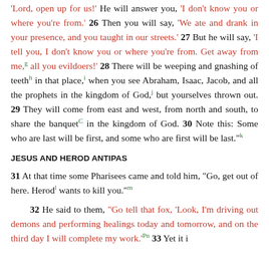'Lord, open up for us!' He will answer you, 'I don't know you or where you're from.' 26 Then you will say, 'We ate and drank in your presence, and you taught in our streets.' 27 But he will say, 'I tell you, I don't know you or where you're from. Get away from me,g all you evildoers!' 28 There will be weeping and gnashing of teethh in that place,i when you see Abraham, Isaac, Jacob, and all the prophets in the kingdom of God,j but yourselves thrown out. 29 They will come from east and west, from north and south, to share the banquetC in the kingdom of God. 30 Note this: Some who are last will be first, and some who are first will be last."k
JESUS AND HEROD ANTIPAS
31 At that time some Pharisees came and told him, "Go, get out of here. Herodl wants to kill you."m
32 He said to them, "Go tell that fox, 'Look, I'm driving out demons and performing healings today and tomorrow, and on the third day I will complete my work.'Pn 33 Yet it is...